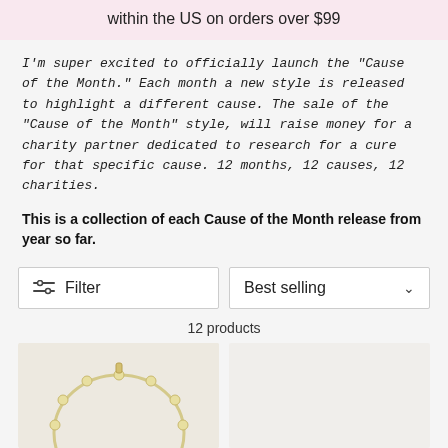within the US on orders over $99
I'm super excited to officially launch the "Cause of the Month." Each month a new style is released to highlight a different cause. The sale of the "Cause of the Month" style, will raise money for a charity partner dedicated to research for a cure for that specific cause. 12 months, 12 causes, 12 charities.
This is a collection of each Cause of the Month release from year so far.
Filter
Best selling
12 products
[Figure (photo): A gold beaded bracelet or necklace arranged in a circular shape on a light background]